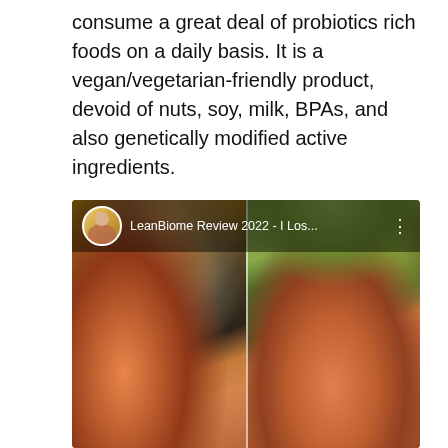consume a great deal of probiotics rich foods on a daily basis. It is a vegan/vegetarian-friendly product, devoid of nuts, soy, milk, BPAs, and also genetically modified active ingredients.
[Figure (photo): A YouTube video thumbnail or screenshot showing 'LeanBiome Review 2022 - I Los...' with a before-and-after style split image of a woman in a coral/salmon colored shirt. Left side appears to be indoors, right side outdoors with green trees in background.]